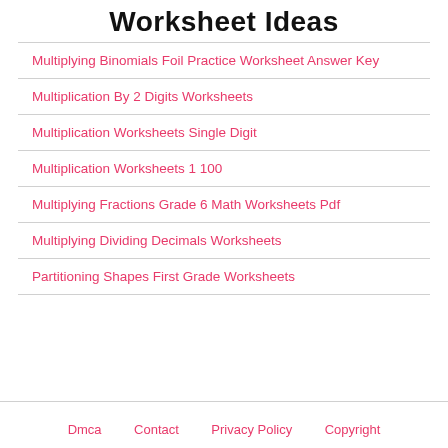Worksheet Ideas
Multiplying Binomials Foil Practice Worksheet Answer Key
Multiplication By 2 Digits Worksheets
Multiplication Worksheets Single Digit
Multiplication Worksheets 1 100
Multiplying Fractions Grade 6 Math Worksheets Pdf
Multiplying Dividing Decimals Worksheets
Partitioning Shapes First Grade Worksheets
Dmca   Contact   Privacy Policy   Copyright